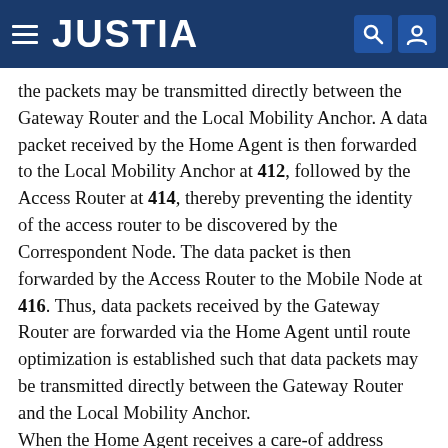JUSTIA
the packets may be transmitted directly between the Gateway Router and the Local Mobility Anchor. A data packet received by the Home Agent is then forwarded to the Local Mobility Anchor at 412, followed by the Access Router at 414, thereby preventing the identity of the access router to be discovered by the Correspondent Node. The data packet is then forwarded by the Access Router to the Mobile Node at 416. Thus, data packets received by the Gateway Router are forwarded via the Home Agent until route optimization is established such that data packets may be transmitted directly between the Gateway Router and the Local Mobility Anchor.
When the Home Agent receives a care-of address location request from the Gateway Router requesting a care-of address associated with the node from the Home Agent, the Home Agent provides the care-of address at 418 and a routing path identifying the Local